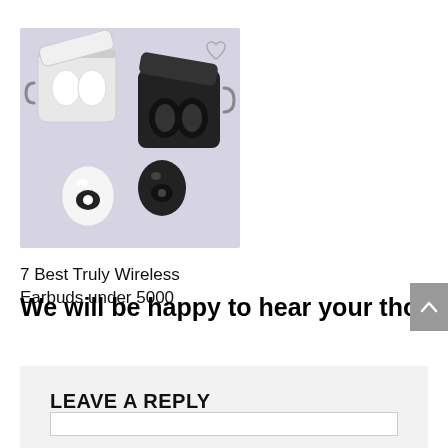[Figure (photo): Product photo of wireless earbuds and cases on a purple/lavender background. Shows two earbuds cases (one white open case, one black open case) and two individual earbuds (one black, one white). A heart/like icon is visible in the top right corner of the image.]
7 Best Truly Wireless Earbuds under 5000
We will be happy to hear your thoughts
LEAVE A REPLY